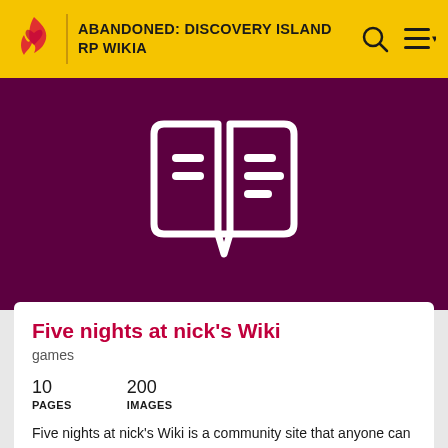ABANDONED: DISCOVERY ISLAND RP WIKIA
[Figure (logo): White open book / wiki icon on dark purple background]
Five nights at nick's Wiki
games
10 PAGES   200 IMAGES
Five nights at nick's Wiki is a community site that anyone can contribute to. Discover, share and add your knowledge!